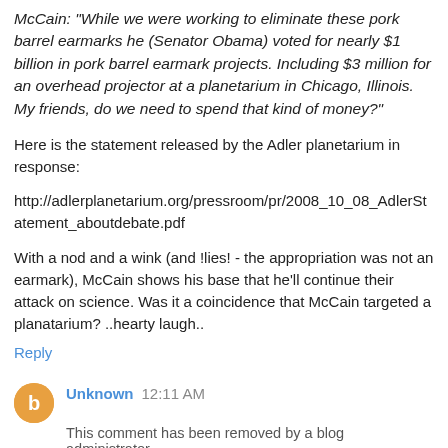McCain: "While we were working to eliminate these pork barrel earmarks he (Senator Obama) voted for nearly $1 billion in pork barrel earmark projects. Including $3 million for an overhead projector at a planetarium in Chicago, Illinois. My friends, do we need to spend that kind of money?"
Here is the statement released by the Adler planetarium in response:
http://adlerplanetarium.org/pressroom/pr/2008_10_08_AdlerStatement_aboutdebate.pdf
With a nod and a wink (and !lies! - the appropriation was not an earmark), McCain shows his base that he'll continue their attack on science. Was it a coincidence that McCain targeted a planatarium? ..hearty laugh..
Reply
Unknown 12:11 AM
This comment has been removed by a blog administrator.